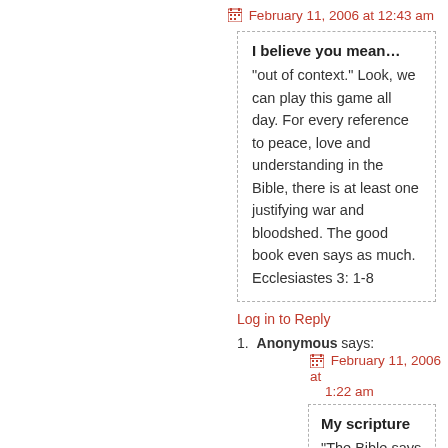February 11, 2006 at 12:43 am
I believe you mean… "out of context." Look, we can play this game all day. For every reference to peace, love and understanding in the Bible, there is at least one justifying war and bloodshed. The good book even says as much. Ecclesiastes 3: 1-8
Log in to Reply
1. Anonymous says:
February 11, 2006 at 1:22 am
My scripture "The Bible says a lot of things." Chief Clancy Wiggum